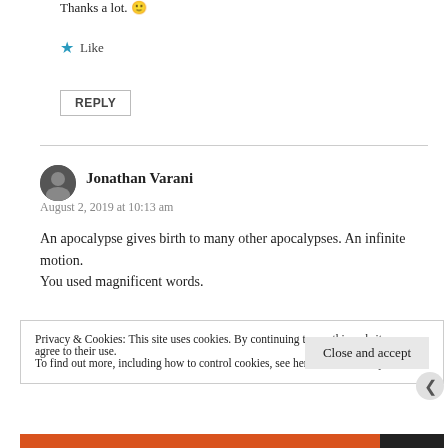Thanks a lot. 🙂
★ Like
REPLY
Jonathan Varani
August 2, 2019 at 10:13 am
An apocalypse gives birth to many other apocalypses. An infinite motion.
You used magnificent words.
Privacy & Cookies: This site uses cookies. By continuing to use this website, you agree to their use.
To find out more, including how to control cookies, see here: Cookie Policy
Close and accept